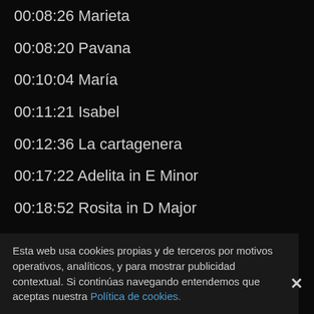00:08:26 Marieta
00:08:20 Pavana
00:10:04 María
00:11:21 Isabel
00:12:36 La cartagenera
00:17:22 Adelita in E Minor
00:18:52 Rosita in D Major
00:20:38 El columpio
00:22:58 Danza mora
00:24:56 Gran vals in A Major
00:27:31 Malagueña fácil
00:30:17 Recuerdos de la Alhambra
00:35:45 Mazurka in G Major
00:38:15 Las tres hermitudes
00:41:45 Minuetto in E Major
Esta web usa cookies propias y de terceros por motivos operativos, analíticos, y para mostrar publicidad contextual. Si continúas navegando entendemos que aceptas nuestra Política de cookies.